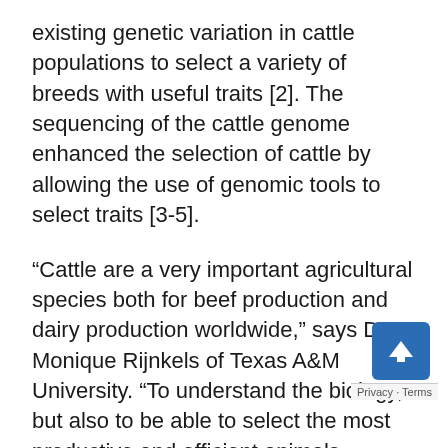existing genetic variation in cattle populations to select a variety of breeds with useful traits [2]. The sequencing of the cattle genome enhanced the selection of cattle by allowing the use of genomic tools to select traits [3-5].
“Cattle are a very important agricultural species both for beef production and dairy production worldwide,” says Dr. Monique Rijnkels of Texas A&M University. “To understand the biology, but also to be able to select the most productive and efficient animals, having a good genome is important,” she says. “There are so many applications for this kind of selection, whether it’s for production traits like more milk or more fats or more protein, or being tolerant of warmer climates, being resistant to certain diseases, better quality beef, faster growth, all those kinds of things,” says Rijnkels.
“Ever since the first genome was put together, people have